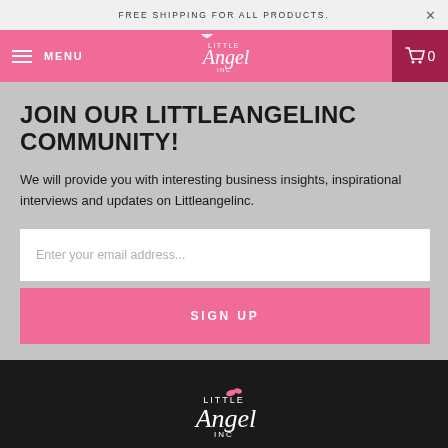FREE SHIPPING FOR ALL PRODUCTS.
[Figure (logo): Little Angel Inc logo in pink nav bar]
JOIN OUR LITTLEANGELINC COMMUNITY!
We will provide you with interesting business insights, inspirational interviews and updates on Littleangelinc.
Enter your email address...
SIGN UP
[Figure (logo): Little Angel Inc logo in dark footer]